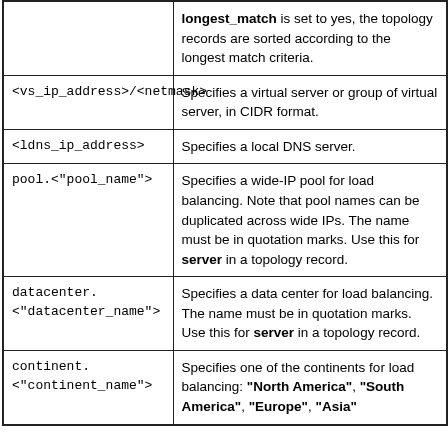|  |  |
| --- | --- |
|  | longest_match is set to yes, the topology records are sorted according to the longest match criteria. |
| <vs_ip_address>/<netmask> | Specifies a virtual server or group of virtual server, in CIDR format. |
| <ldns_ip_address> | Specifies a local DNS server. |
| pool.<"pool_name"> | Specifies a wide-IP pool for load balancing. Note that pool names can be duplicated across wide IPs. The name must be in quotation marks. Use this for server in a topology record. |
| datacenter.
<"datacenter_name"> | Specifies a data center for load balancing. The name must be in quotation marks. Use this for server in a topology record. |
| continent.
<"continent_name"> | Specifies one of the continents for load balancing: "North America", "South America", "Europe", "Asia" |